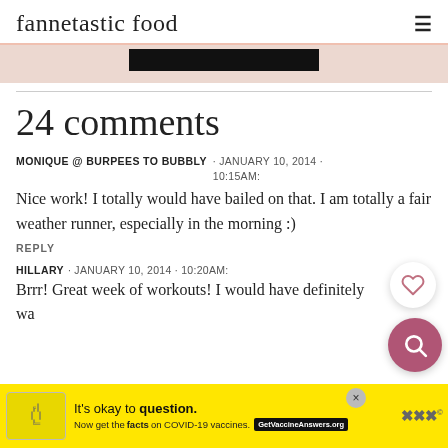fannetastic food
[Figure (other): Black navigation bar / banner image partially visible]
24 comments
MONIQUE @ BURPEES TO BUBBLY · JANUARY 10, 2014 · 10:15AM:
Nice work! I totally would have bailed on that. I am totally a fair weather runner, especially in the morning :)
REPLY
HILLARY · JANUARY 10, 2014 · 10:20AM:
Brrr! Great week of workouts! I would have definitely wa...
[Figure (other): COVID-19 vaccine advertisement banner at bottom of page: yellow background, 'It's okay to question. Now get the facts on COVID-19 vaccines. GetVaccineAnswers.org']